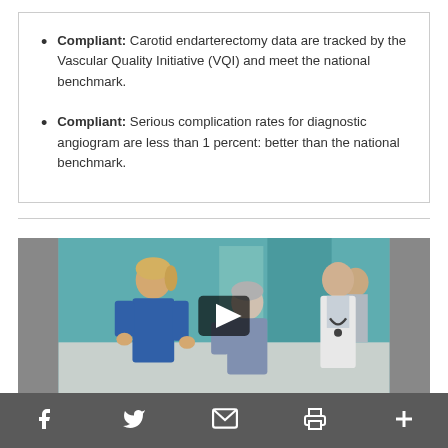Compliant: Carotid endarterectomy data are tracked by the Vascular Quality Initiative (VQI) and meet the national benchmark.
Compliant: Serious complication rates for diagnostic angiogram are less than 1 percent: better than the national benchmark.
[Figure (photo): Medical scene showing a nurse in blue scrubs assisting an elderly patient, with a doctor in a white coat standing in the background. A video play button overlay is centered on the image.]